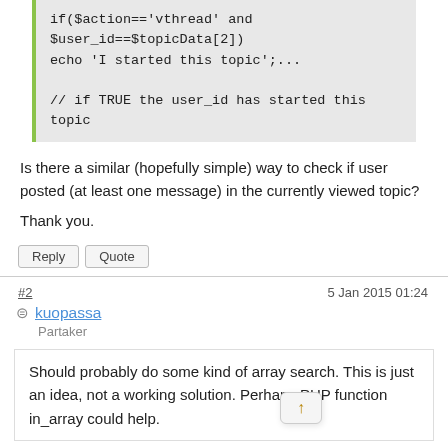[Figure (screenshot): Code block with PHP code: if($action=='vthread' and $user_id==$topicData[2]) echo 'I started this topic';... followed by comment // if TRUE the user_id has started this topic]
Is there a similar (hopefully simple) way to check if user posted (at least one message) in the currently viewed topic?
Thank you.
Reply  Quote
#2   5 Jan 2015 01:24
kuopassa
Partaker
Should probably do some kind of array search. This is just an idea, not a working solution. Perhaps PHP function in_array could help.